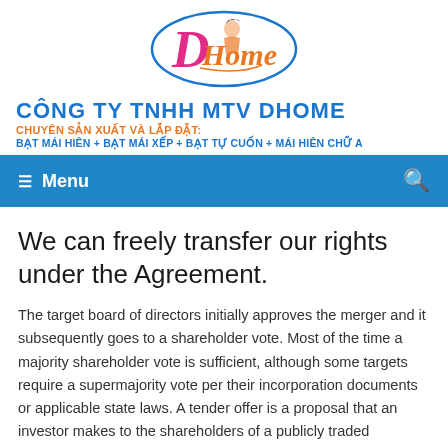[Figure (logo): DHome company logo — oval shape with 'D' in pink script and 'Home' in orange, with a stylized woman figure inside the oval]
CÔNG TY TNHH MTV DHOME
CHUYÊN SẢN XUẤT VÀ LẮP ĐẶT:
BẠT MÁI HIÊN + BẠT MÁI XẾP + BẠT TỰ CUỐN + MÁI HIÊN CHỮ A
Menu
We can freely transfer our rights under the Agreement.
The target board of directors initially approves the merger and it subsequently goes to a shareholder vote. Most of the time a majority shareholder vote is sufficient, although some targets require a supermajority vote per their incorporation documents or applicable state laws. A tender offer is a proposal that an investor makes to the shareholders of a publicly traded companyPrivate vs Public CompanyThe main difference between a private vs